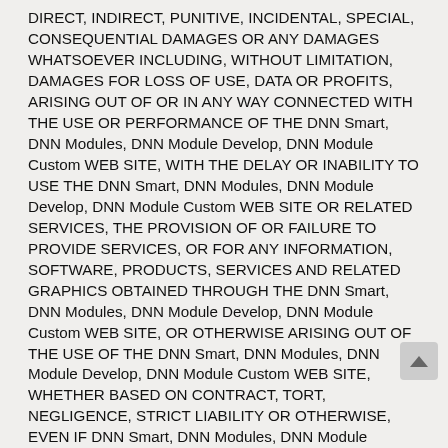DIRECT, INDIRECT, PUNITIVE, INCIDENTAL, SPECIAL, CONSEQUENTIAL DAMAGES OR ANY DAMAGES WHATSOEVER INCLUDING, WITHOUT LIMITATION, DAMAGES FOR LOSS OF USE, DATA OR PROFITS, ARISING OUT OF OR IN ANY WAY CONNECTED WITH THE USE OR PERFORMANCE OF THE DNN Smart, DNN Modules, DNN Module Develop, DNN Module Custom WEB SITE, WITH THE DELAY OR INABILITY TO USE THE DNN Smart, DNN Modules, DNN Module Develop, DNN Module Custom WEB SITE OR RELATED SERVICES, THE PROVISION OF OR FAILURE TO PROVIDE SERVICES, OR FOR ANY INFORMATION, SOFTWARE, PRODUCTS, SERVICES AND RELATED GRAPHICS OBTAINED THROUGH THE DNN Smart, DNN Modules, DNN Module Develop, DNN Module Custom WEB SITE, OR OTHERWISE ARISING OUT OF THE USE OF THE DNN Smart, DNN Modules, DNN Module Develop, DNN Module Custom WEB SITE, WHETHER BASED ON CONTRACT, TORT, NEGLIGENCE, STRICT LIABILITY OR OTHERWISE, EVEN IF DNN Smart, DNN Modules, DNN Module Develop, DNN Module Custom OR ANY OF ITS SUPPLIERS HAS BEEN ADVISED OF THE POSSIBILITY OF DAMAGES. BECAUSE SOME STATES/JURISDICTIONS DO NOT ALLOW THE EXCLUSION OR LIMITATION OF LIABILITY FOR CONSEQUENTIAL OR INCIDENTAL DAMAGES, THE ABOVE LIMITATION MAY NOT APPLY TO YOU. IF YOU ARE DISSATISFIED WITH ANY PORTION OF THE DNN Smart, DNN Modules, DNN Module Develop, DNN Module Custom WEB SITE, OR WITH ANY OF THESE TERMS OF USE, YOUR SOLE AND EXCLUSIVE REMEDY IS TO